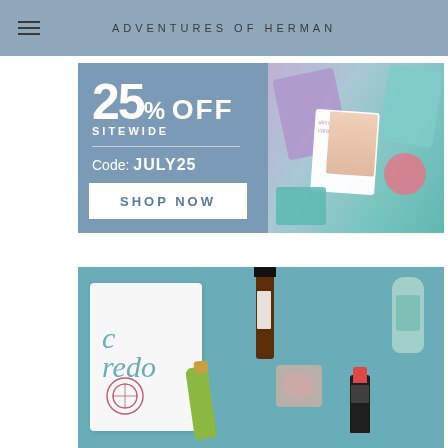ADVENTURES OF HERMAN
[Figure (photo): Advertisement banner: 25% OFF SITEWIDE Code: JULY25 SHOP NOW with skincare product images on right side]
[Figure (photo): Photo of Credo beauty products on a teal surface including a white Credo bag, brown serum bottle, green oil bottle, compact, lipstick, and teal tube]